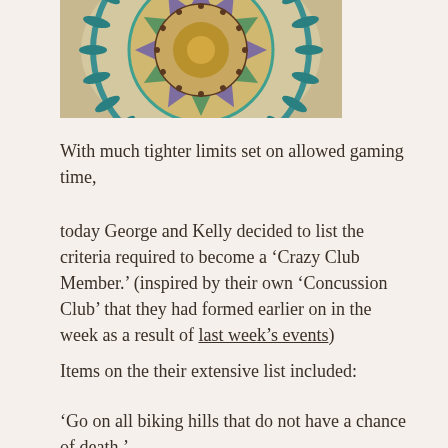[Figure (photo): Close-up photo of a colourful mosaic or painted stone, showing teal, purple, and green geometric patterns arranged in a circular mandala-like design.]
With much tighter limits set on allowed gaming time,
today George and Kelly decided to list the criteria required to become a ‘Crazy Club Member.’ (inspired by their own ‘Concussion Club’ that they had formed earlier on in the week as a result of last week’s events)
Items on the their extensive list included:
‘Go on all biking hills that do not have a chance of death.’